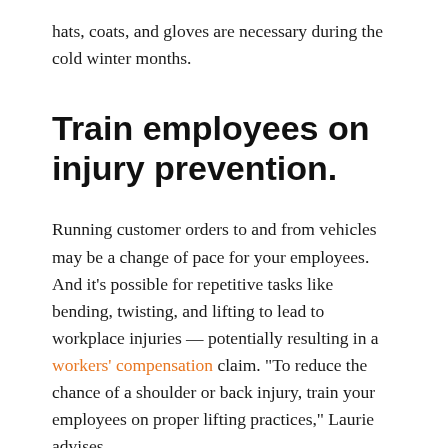hats, coats, and gloves are necessary during the cold winter months.
Train employees on injury prevention.
Running customer orders to and from vehicles may be a change of pace for your employees. And it’s possible for repetitive tasks like bending, twisting, and lifting to lead to workplace injuries — potentially resulting in a workers’ compensation claim. “To reduce the chance of a shoulder or back injury, train your employees on proper lifting practices,” Laurie advises.